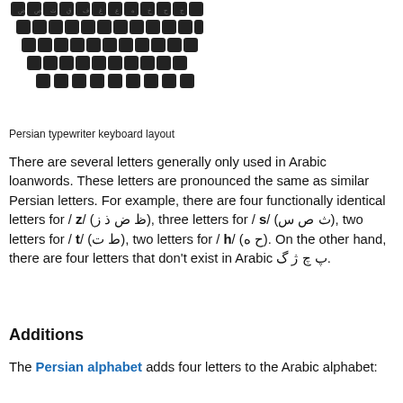[Figure (illustration): Persian typewriter keyboard layout showing rows of dark rounded keys with Persian/Arabic script characters]
Persian typewriter keyboard layout
There are several letters generally only used in Arabic loanwords. These letters are pronounced the same as similar Persian letters. For example, there are four functionally identical letters for / z/ (ظ ض ذ ز), three letters for / s/ (ث ص س), two letters for / t/ (ط ت), two letters for / h/ (ح ه). On the other hand, there are four letters that don't exist in Arabic پ چ ژ گ.
Additions
The Persian alphabet adds four letters to the Arabic alphabet: